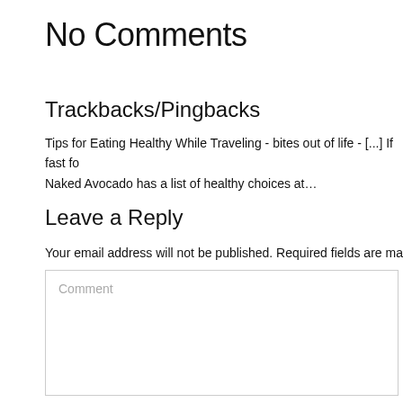No Comments
Trackbacks/Pingbacks
Tips for Eating Healthy While Traveling - bites out of life - [...] If fast fo Naked Avocado has a list of healthy choices at…
Leave a Reply
Your email address will not be published. Required fields are marked *
Comment